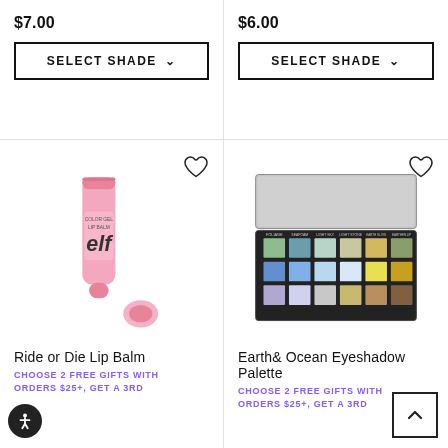$7.00
SELECT SHADE
$6.00
SELECT SHADE
[Figure (photo): Pink e.l.f. Ride or Die Lip Balm tube with pink cap beside it]
Ride or Die Lip Balm
CHOOSE 2 FREE GIFTS WITH ORDERS $25+, GET A 3RD
[Figure (photo): Earth & Ocean Eyeshadow Palette open showing colorful earth and ocean tones in a grid]
Earth & Ocean Eyeshadow Palette
CHOOSE 2 FREE GIFTS WITH ORDERS $25+, GET A 3RD